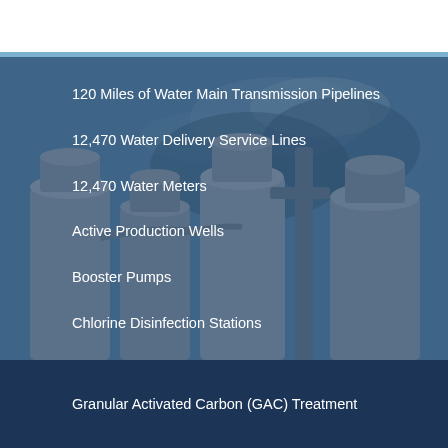[Figure (photo): Industrial water treatment facility with large cylindrical tanks/towers against a blue sky, overlaid with a semi-transparent dark blue panel]
120 Miles of Water Main Transmission Pipelines
12,470 Water Delivery Service Lines
12,470 Water Meters
Active Production Wells
Booster Pumps
Chlorine Disinfection Stations
Granular Activated Carbon (GAC) Treatment